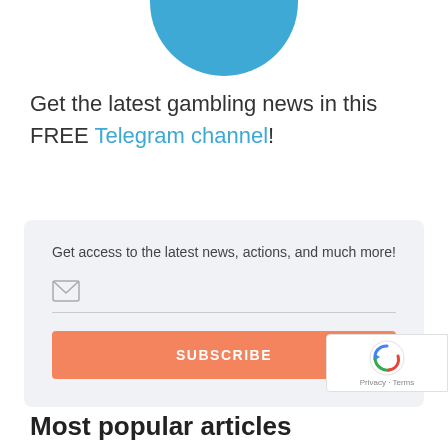[Figure (logo): Telegram logo — blue circle partially visible at top of page]
Get the latest gambling news in this FREE Telegram channel!
Get access to the latest news, actions, and much more!
[Figure (other): Email input field with envelope icon and SUBSCRIBE button on salmon/coral background]
[Figure (other): reCAPTCHA badge with Google reCAPTCHA logo and Privacy - Terms text]
Most popular articles